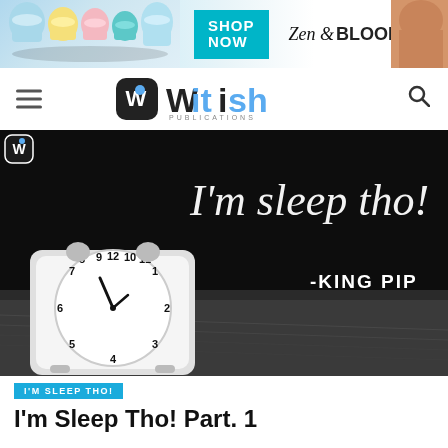[Figure (photo): Advertisement banner with skincare product jars, SHOP NOW button in teal, Zen & Bloom logo, and a person on the right side]
[Figure (logo): Witish Publications logo with hamburger menu on left and search icon on right in navigation bar]
[Figure (photo): Black and white hero image with an alarm clock on the left, handwritten text 'I'm sleep tho!' and '-KING PIP' attribution on a dark background]
I'M SLEEP THO!
I'm Sleep Tho! Part. 1